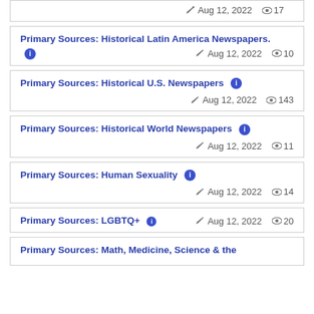Aug 12, 2022   17
Primary Sources: Historical Latin America Newspapers.   Aug 12, 2022   10
Primary Sources: Historical U.S. Newspapers   Aug 12, 2022   143
Primary Sources: Historical World Newspapers   Aug 12, 2022   11
Primary Sources: Human Sexuality   Aug 12, 2022   14
Primary Sources: LGBTQ+   Aug 12, 2022   20
Primary Sources: Math, Medicine, Science & the